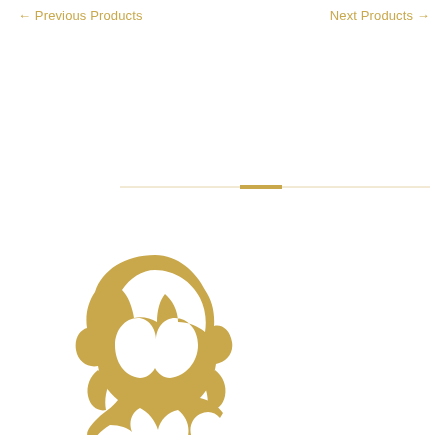← Previous Products    Next Products →
[Figure (illustration): Golden/tan silhouette illustration of a woman with wavy hair, rendered in a golden-yellow color on white background]
[Figure (other): Decorative horizontal divider line in golden color with a small rectangular center accent]